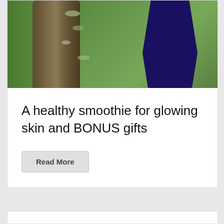[Figure (photo): Person in dark blue clothing hugging or standing beside a large tree trunk in a green outdoor setting]
A healthy smoothie for glowing skin and BONUS gifts
Read More